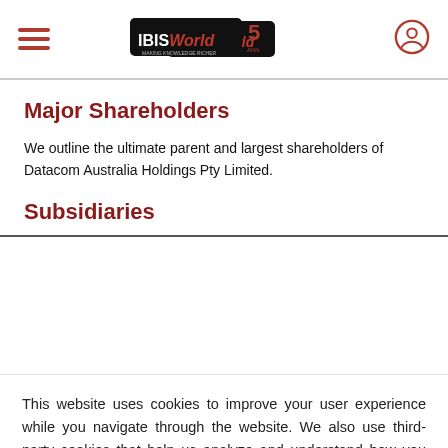IBISWorld 50th Anniversary
Major Shareholders
We outline the ultimate parent and largest shareholders of Datacom Australia Holdings Pty Limited.
Subsidiaries
This website uses cookies to improve your user experience while you navigate through the website. We also use third-party cookies that help us analyze and understand how you use this website. By continuing to use this website you agree to the use of these technologies. LEARN MORE
ACCEPT